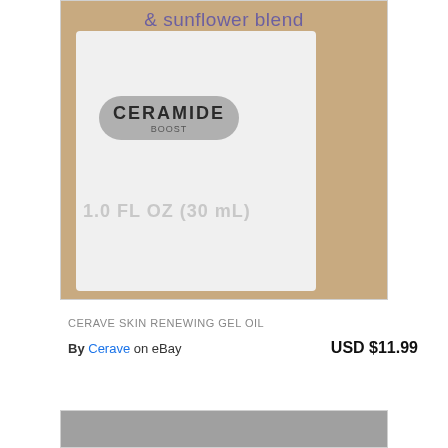[Figure (photo): Close-up photo of a CeraVe Skin Renewing Gel Oil product box showing '& sunflower blend' text in purple, a silver CERAMIDE BOOST badge, and '1.0 FL OZ (30 mL)' text on a white box against a brown background]
CERAVE SKIN RENEWING GEL OIL
By Cerave on eBay
USD $11.99
[Figure (photo): Partial photo of another product, grey background visible at bottom of page]